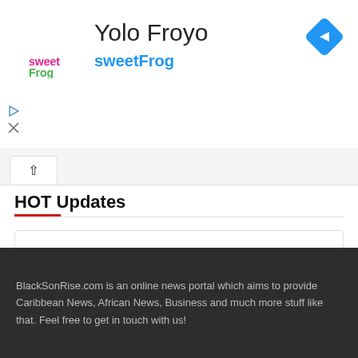[Figure (logo): sweetFrog logo and ad banner with 'Yolo Froyo' title, sweetFrog subtitle, navigation icon, and play/close icons]
HOT Updates
No Content Available
BlackSonRise.com is an online news portal which aims to provide Caribbean News, African News, Business and much more stuff like that. Feel free to get in touch with us!